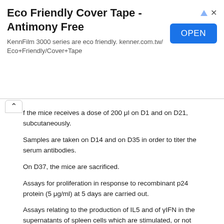[Figure (screenshot): Advertisement banner: Eco Friendly Cover Tape - Antimony Free, with OPEN button in blue, KennFilm 3000 series are eco friendly. kenner.com.tw/Eco+Friendly/Cover+Tape]
f the mice receives a dose of 200 μl on D1 and on D21, subcutaneously.
Samples are taken on D14 and on D35 in order to titer the serum antibodies.
On D37, the mice are sacrificed.
Assays for proliferation in response to recombinant p24 protein (5 μg/ml) at 5 days are carried out.
Assays relating to the production of IL5 and of γIFN in the supernatants of spleen cells which are stimulated, or not stimulated, for 5 days in vitro with 10 mg/ml of recombinant p24 are also carried out.
The results obtained are illustrated in FIGS. 7 to 13.
These results show that the IgG1 antibody titers at D14 and at D35 (FIGS. 7 and 9) are better with the pharmaceutical compositions according to the invention than with immunization compositions comprising only the antigen,